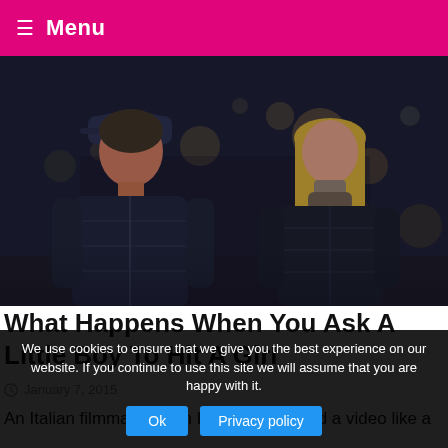≡ Menu
[Figure (photo): Two children standing outdoors at night on a city street, a boy in a dark puffer jacket and cap looking downward, and a girl in a dark puffer jacket with long blonde hair, bokeh background with street lights]
What Happens When You Ask A Little Boy To Hit A Girl
January 7, 2015
An Italian filmmaker from Fanpage.it filmed a video like a
We use cookies to ensure that we give you the best experience on our website. If you continue to use this site we will assume that you are happy with it.